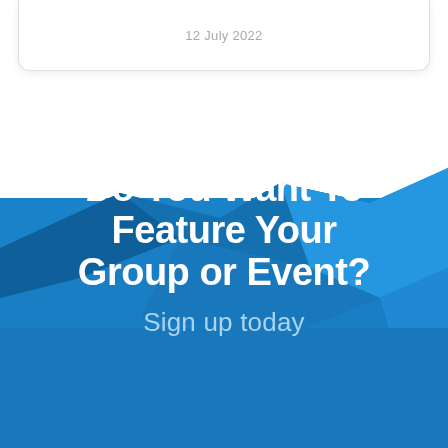12 July 2022
[Figure (illustration): Blue geometric banner/background with faceted 3D-style polygonal shapes in shades of blue, forming a wave-like silhouette rising from the bottom of the page.]
Do You Want To Feature Your Group or Event?
Sign up today